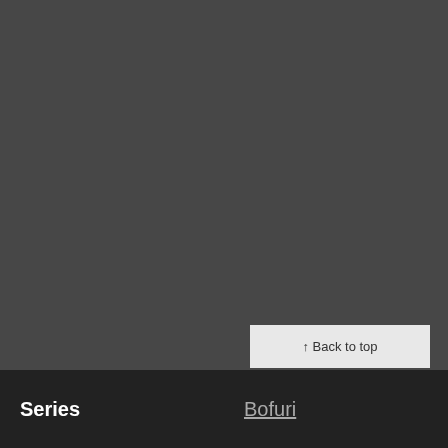[Figure (screenshot): Dark gray background area filling the majority of the page]
↑ Back to top
Series
Bofuri